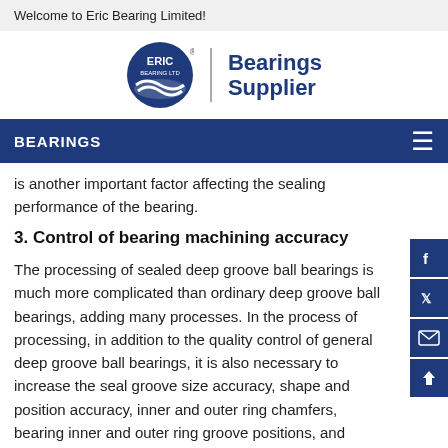Welcome to Eric Bearing Limited!
[Figure (logo): Eric Bearing Ltd logo with circular emblem and 'Bearings Supplier' text]
BEARINGS
is another important factor affecting the sealing performance of the bearing.
3. Control of bearing machining accuracy
The processing of sealed deep groove ball bearings is much more complicated than ordinary deep groove ball bearings, adding many processes. In the process of processing, in addition to the quality control of general deep groove ball bearings, it is also necessary to increase the seal groove size accuracy, shape and position accuracy, inner and outer ring chamfers, bearing inner and outer ring groove positions, and parallelism control of the grooves and end faces, and more